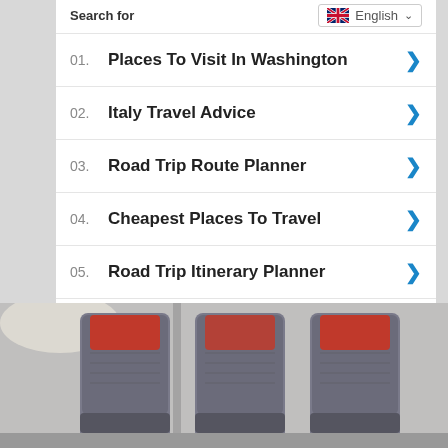Search for
01. Places To Visit In Washington
02. Italy Travel Advice
03. Road Trip Route Planner
04. Cheapest Places To Travel
05. Road Trip Itinerary Planner
Yahoo! Search | Sponsored
[Figure (photo): Interior of a bus or train showing rows of grey and red seats]